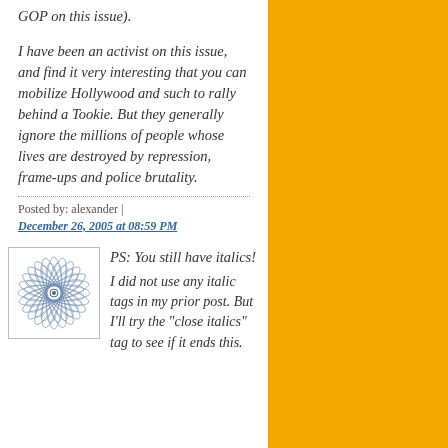GOP on this issue).
I have been an activist on this issue, and find it very interesting that you can mobilize Hollywood and such to rally behind a Tookie. But they generally ignore the millions of people whose lives are destroyed by repression, frame-ups and police brutality.
Posted by: alexander | December 26, 2005 at 08:59 PM
[Figure (illustration): Circular geometric spiral pattern, resembling a spirograph design, in blue/grey tones on white background, used as avatar]
PS: You still have italics! I did not use any italic tags in my prior post. But I'll try the "close italics" tag to see if it ends this.